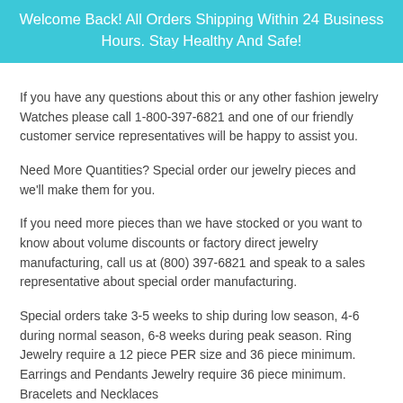Welcome Back! All Orders Shipping Within 24 Business Hours. Stay Healthy And Safe!
If you have any questions about this or any other fashion jewelry Watches please call 1-800-397-6821 and one of our friendly customer service representatives will be happy to assist you.
Need More Quantities? Special order our jewelry pieces and we'll make them for you.
If you need more pieces than we have stocked or you want to know about volume discounts or factory direct jewelry manufacturing, call us at (800) 397-6821 and speak to a sales representative about special order manufacturing.
Special orders take 3-5 weeks to ship during low season, 4-6 during normal season, 6-8 weeks during peak season. Ring Jewelry require a 12 piece PER size and 36 piece minimum. Earrings and Pendants Jewelry require 36 piece minimum. Bracelets and Necklaces